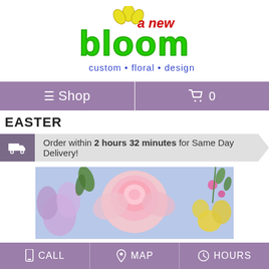[Figure (logo): A New Bloom custom floral design logo with green stylized text 'bloom', red 'a new' text, yellow flower petals above, and blue tagline 'custom • floral • design']
≡ Shop   🛒 0
EASTER
Order within 2 hours 32 minutes for Same Day Delivery!
[Figure (photo): Flower arrangement showing pink roses, purple flowers, and yellow flowers on a light blue background]
CALL   MAP   HOURS